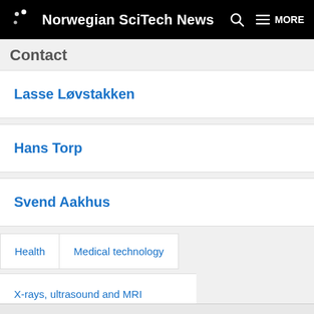Norwegian SciTech News
Contact
Lasse Løvstakken
Hans Torp
Svend Aakhus
Health
Medical technology
X-rays, ultrasound and MRI